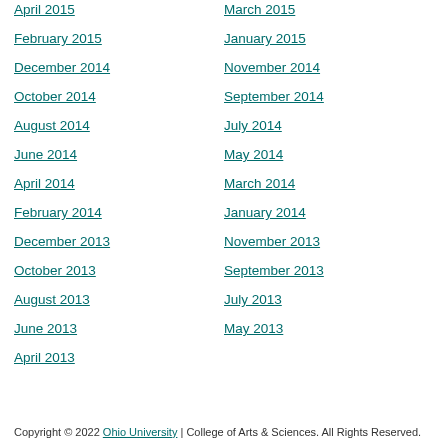April 2015
March 2015
February 2015
January 2015
December 2014
November 2014
October 2014
September 2014
August 2014
July 2014
June 2014
May 2014
April 2014
March 2014
February 2014
January 2014
December 2013
November 2013
October 2013
September 2013
August 2013
July 2013
June 2013
May 2013
April 2013
Copyright © 2022 Ohio University | College of Arts & Sciences. All Rights Reserved.